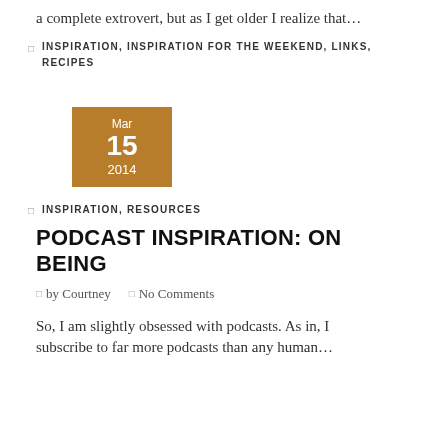a complete extrovert, but as I get older I realize that…
INSPIRATION, INSPIRATION FOR THE WEEKEND, LINKS, RECIPES
[Figure (other): Date box showing Mar 15 2014 in golden/brown color]
INSPIRATION, RESOURCES
PODCAST INSPIRATION: ON BEING
by Courtney   No Comments
So, I am slightly obsessed with podcasts. As in, I subscribe to far more podcasts than any human…